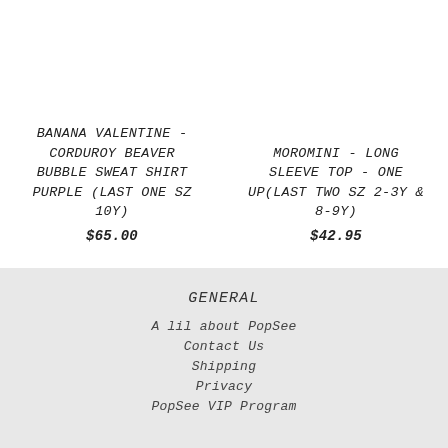BANANA VALENTINE - CORDUROY BEAVER BUBBLE SWEAT SHIRT PURPLE (LAST ONE SZ 10Y)
$65.00
MOROMINI - LONG SLEEVE TOP - ONE UP(LAST TWO SZ 2-3Y & 8-9Y)
$42.95
GENERAL
A lil about PopSee
Contact Us
Shipping
Privacy
PopSee VIP Program